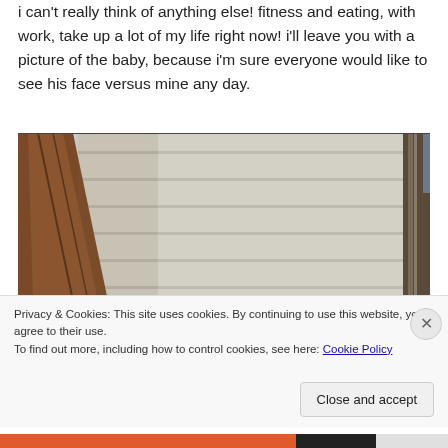i can't really think of anything else!  fitness and eating, with work, take up a lot of my life right now!  i'll leave you with a picture of the baby, because i'm sure everyone would like to see his face versus mine any day.
[Figure (photo): A photo showing a close-up view looking up at wooden beams and white horizontal siding panels on what appears to be the underside of a porch or deck structure. There is a hint of a blue wall on the right side.]
Privacy & Cookies: This site uses cookies. By continuing to use this website, you agree to their use.
To find out more, including how to control cookies, see here: Cookie Policy
Close and accept